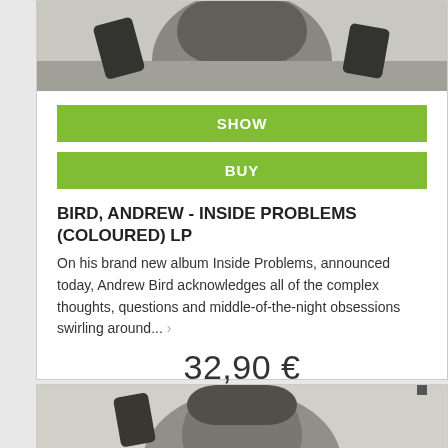[Figure (photo): Black and white photo of person, top portion cropped]
SHOW
BUY
BIRD, ANDREW - INSIDE PROBLEMS (COLOURED) LP
On his brand new album Inside Problems, announced today, Andrew Bird acknowledges all of the complex thoughts, questions and middle-of-the-night obsessions swirling around... ›
32,90 €
[Figure (photo): Black and white photo of person, bottom portion of page]